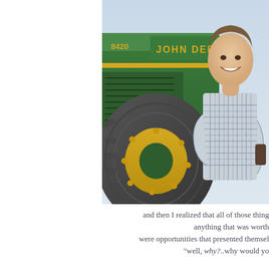[Figure (photo): A man in a plaid shirt smiling and standing in front of a large green John Deere 8420 tractor, posing next to the large black tire with yellow rim. The background shows a light blue sky.]
and then I realized that all of those things anything that was worth were opportunities that presented themselves "well, why?..why would yo